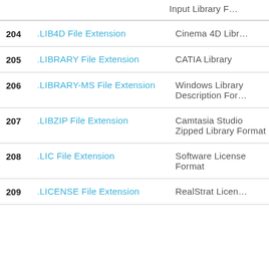Input Library F…
204 .LIB4D File Extension — Cinema 4D Libr…
205 .LIBRARY File Extension — CATIA Library
206 .LIBRARY-MS File Extension — Windows Library Description For…
207 .LIBZIP File Extension — Camtasia Studio Zipped Library Format
208 .LIC File Extension — Software License Format
209 .LICENSE File Extension — RealStrat Licen…